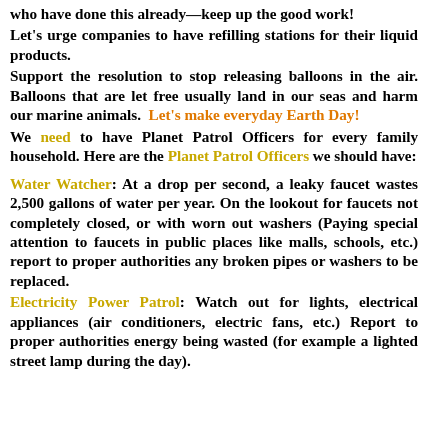who have done this already—keep up the good work!
Let's urge companies to have refilling stations for their liquid products.
Support the resolution to stop releasing balloons in the air. Balloons that are let free usually land in our seas and harm our marine animals. Let's make everyday Earth Day!
We need to have Planet Patrol Officers for every family household. Here are the Planet Patrol Officers we should have:
Water Watcher: At a drop per second, a leaky faucet wastes 2,500 gallons of water per year. On the lookout for faucets not completely closed, or with worn out washers (Paying special attention to faucets in public places like malls, schools, etc.) report to proper authorities any broken pipes or washers to be replaced.
Electricity Power Patrol: Watch out for lights, electrical appliances (air conditioners, electric fans, etc.) Report to proper authorities energy being wasted (for example a lighted street lamp during the day).